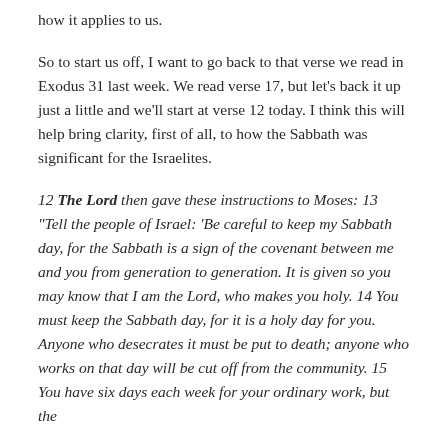how it applies to us.
So to start us off, I want to go back to that verse we read in Exodus 31 last week. We read verse 17, but let’s back it up just a little and we’ll start at verse 12 today. I think this will help bring clarity, first of all, to how the Sabbath was significant for the Israelites.
12 The Lord then gave these instructions to Moses: 13 “Tell the people of Israel: ‘Be careful to keep my Sabbath day, for the Sabbath is a sign of the covenant between me and you from generation to generation. It is given so you may know that I am the Lord, who makes you holy. 14 You must keep the Sabbath day, for it is a holy day for you. Anyone who desecrates it must be put to death; anyone who works on that day will be cut off from the community. 15 You have six days each week for your ordinary work, but the